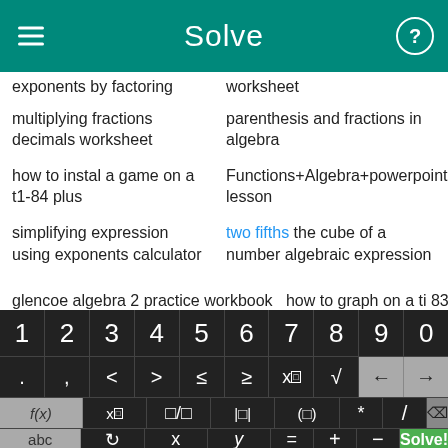Solve
exponents by factoring
worksheet
multiplying fractions decimals worksheet
parenthesis and fractions in algebra
how to instal a game on a t1-84 plus
Functions+Algebra+powerpoint lesson
simplifying expression using exponents calculator
two fifths the cube of a number algebraic expression
glencoe algebra 2 practice workbook
how to graph on a ti 83
[Figure (screenshot): On-screen math keyboard with digit row (1-0), symbol row (. , < > ≤ ≥ x□ √ ← →), function row (f(x), x□, fraction, absolute value, parentheses, *, /, delete), and bottom row (abc, ↺, x, y, =, +, -, Solve!)]